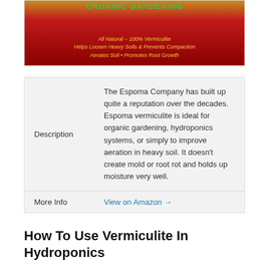[Figure (photo): Product image of Espoma Organic Gardening Vermiculite bag - red and gold packaging with green text reading ORGANIC GARDENING, subtext: All Natural - 100% Vermiculite, Helps Loosen Heavy Soils & Prevents Compaction, Aerates Soil • Promotes Root Growth]
|  |  |
| --- | --- |
| Description | The Espoma Company has built up quite a reputation over the decades. Espoma vermiculite is ideal for organic gardening, hydroponics systems, or simply to improve aeration in heavy soil. It doesn't create mold or root rot and holds up moisture very well. |
| More Info | View on Amazon → |
How To Use Vermiculite In Hydroponics